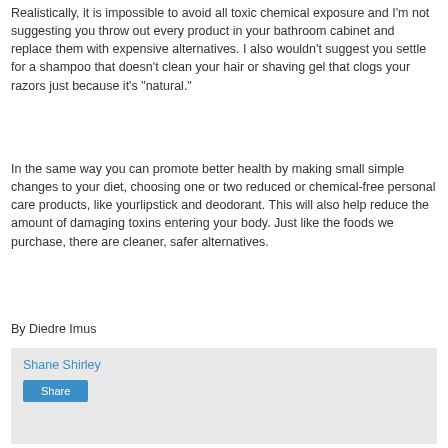Realistically, it is impossible to avoid all toxic chemical exposure and I'm not suggesting you throw out every product in your bathroom cabinet and replace them with expensive alternatives. I also wouldn't suggest you settle for a shampoo that doesn't clean your hair or shaving gel that clogs your razors just because it's "natural."
In the same way you can promote better health by making small simple changes to your diet, choosing one or two reduced or chemical-free personal care products, like yourlipstick and deodorant. This will also help reduce the amount of damaging toxins entering your body. Just like the foods we purchase, there are cleaner, safer alternatives.
By Diedre Imus
Shane Shirley
Share